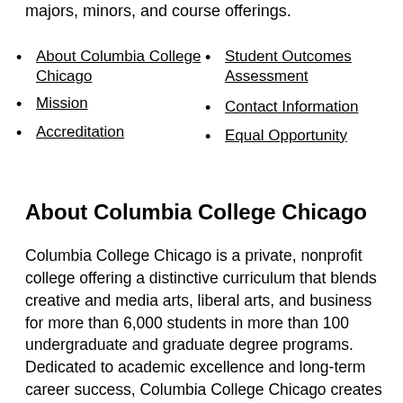majors, minors, and course offerings.
About Columbia College Chicago
Student Outcomes Assessment
Mission
Contact Information
Accreditation
Equal Opportunity
About Columbia College Chicago
Columbia College Chicago is a private, nonprofit college offering a distinctive curriculum that blends creative and media arts, liberal arts, and business for more than 6,000 students in more than 100 undergraduate and graduate degree programs. Dedicated to academic excellence and long-term career success, Columbia College Chicago creates a dynamic, challenging, and collaborative space for students who see the world through a creative lens.